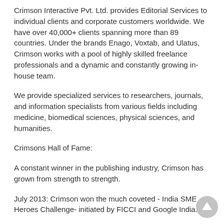Crimson Interactive Pvt. Ltd. provides Editorial Services to individual clients and corporate customers worldwide. We have over 40,000+ clients spanning more than 89 countries. Under the brands Enago, Voxtab, and Ulatus, Crimson works with a pool of highly skilled freelance professionals and a dynamic and constantly growing in-house team.
We provide specialized services to researchers, journals, and information specialists from various fields including medicine, biomedical sciences, physical sciences, and humanities.
Crimsons Hall of Fame:
A constant winner in the publishing industry, Crimson has grown from strength to strength.
July 2013: Crimson won the much coveted - India SME Heroes Challenge- initiated by FICCI and Google India.
October 2012: Crimson won the revered World Quality Commitment Award in the Gold category.